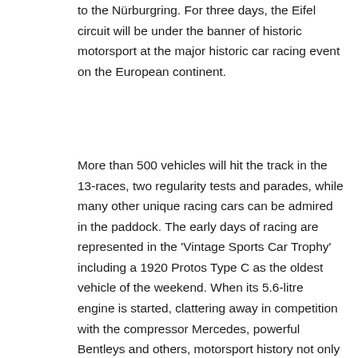to the Nürburgring. For three days, the Eifel circuit will be under the banner of historic motorsport at the major historic car racing event on the European continent.
More than 500 vehicles will hit the track in the 13-races, two regularity tests and parades, while many other unique racing cars can be admired in the paddock. The early days of racing are represented in the 'Vintage Sports Car Trophy' including a 1920 Protos Type C as the oldest vehicle of the weekend. When its 5.6-litre engine is started, clattering away in competition with the compressor Mercedes, powerful Bentleys and others, motorsport history not only becomes visible, but also provides an experience for all the senses.